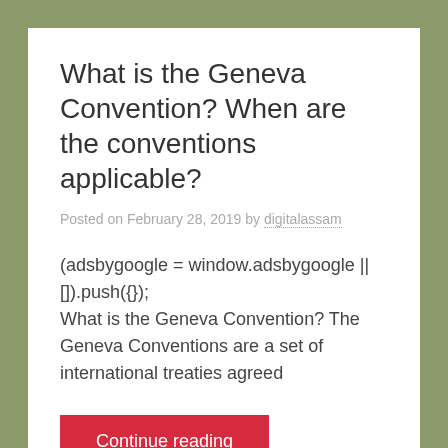What is the Geneva Convention? When are the conventions applicable?
Posted on February 28, 2019 by digitalassam
(adsbygoogle = window.adsbygoogle || []).push({}); What is the Geneva Convention? The Geneva Conventions are a set of international treaties agreed
Continue reading
Current Affairs, Uncategorized